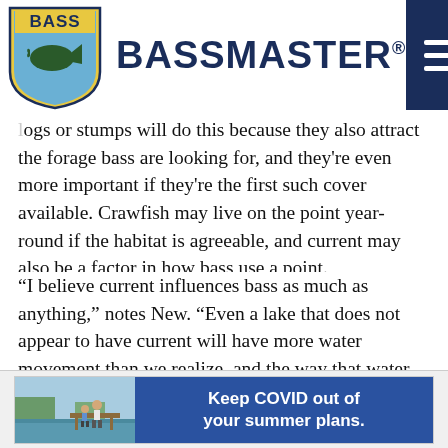BASSMASTER
ogs or stumps will do this because they also attract the forage bass are looking for, and they’re even more important if they’re the first such cover available. Crawfish may live on the point year-round if the habitat is agreeable, and current may also be a factor in how bass use a point.
“I believe current influences bass as much as anything,” notes New. “Even a lake that does not appear to have current will have more water movement than we realize, and the way that water moves dictates the way bass will set up. Wherever the
[Figure (infographic): Advertisement banner: photo of adult and child on a dock, blue background with text 'Keep COVID out of your summer plans.']